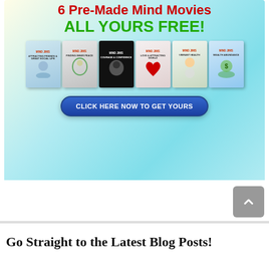[Figure (infographic): Promotional banner with text '6 Pre-Made Mind Movies ALL YOURS FREE!' with 6 book/DVD covers shown and a blue CTA button 'CLICK HERE NOW TO GET YOURS']
Go Straight to the Latest Blog Posts!